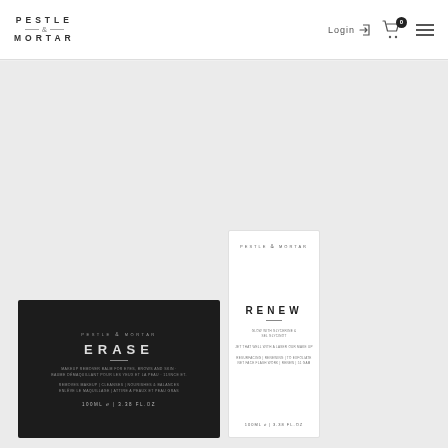PESTLE & MORTAR — Login — Cart 0 — Menu
[Figure (photo): Product photography showing two Pestle & Mortar skincare product boxes: a black horizontal box labeled ERASE and a white vertical box labeled RENEW, displayed on a light grey background.]